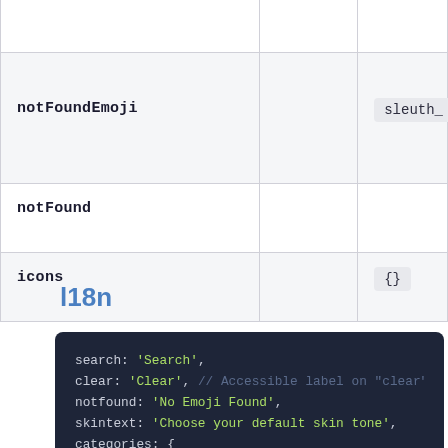| Property |  | Default |
| --- | --- | --- |
| notFoundEmoji |  | sleuth_ |
| notFound |  |  |
| icons |  | {} |
l18n
search: 'Search',
clear: 'Clear', // Accessible label on "clear" b
notfound: 'No Emoji Found',
skintext: 'Choose your default skin tone',
categories: {
  search: 'Search Results',
  recent: 'Frequently Used',
  smileys: 'Smileys & Emotion',